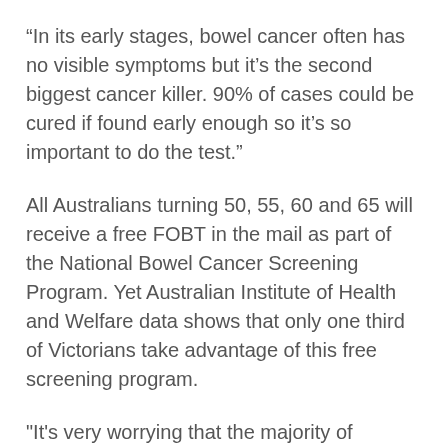“In its early stages, bowel cancer often has no visible symptoms but it’s the second biggest cancer killer. 90% of cases could be cured if found early enough so it’s so important to do the test.”
All Australians turning 50, 55, 60 and 65 will receive a free FOBT in the mail as part of the National Bowel Cancer Screening Program. Yet Australian Institute of Health and Welfare data shows that only one third of Victorians take advantage of this free screening program.
"It's very worrying that the majority of Victorians aged 50 and over are not doing this simple, life-saving test. Perhaps it's because they feel healthy or do not understand what the test involves, or they may simply